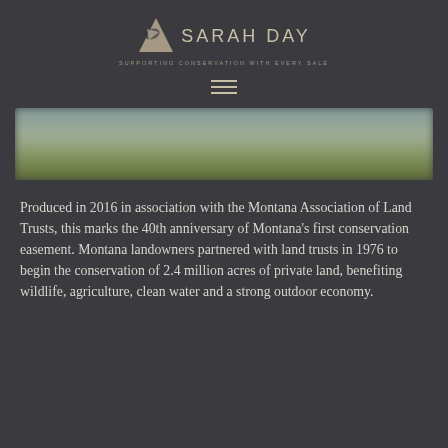[Figure (logo): Sarah Day logo with mountain/leaf icon and text 'SARAH DAY' and tagline 'SUPPORTING CONSERVATION WITH EVERY SALE']
[Figure (photo): A blurred landscape photo strip showing green fields and sky, used as a decorative banner image]
Produced in 2016 in association with the Montana Association of Land Trusts, this marks the 40th anniversary of Montana's first conservation easement. Montana landowners partnered with land trusts in 1976 to begin the conservation of 2.4 million acres of private land, benefiting wildlife, agriculture, clean water and a strong outdoor economy.